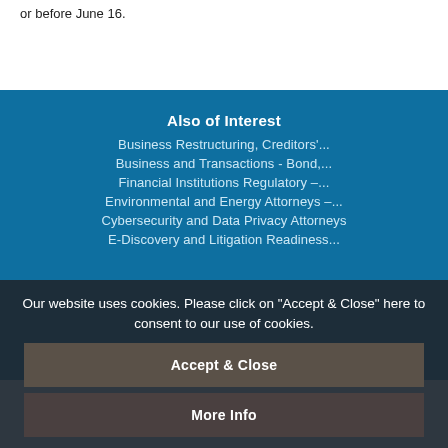or before June 16.
Also of Interest
Business Restructuring, Creditors'...
Business and Transactions - Bond,...
Financial Institutions Regulatory –...
Environmental and Energy Attorneys –...
Cybersecurity and Data Privacy Attorneys
E-Discovery and Litigation Readiness...
Our website uses cookies. Please click on "Accept & Close" here to consent to our use of cookies.
Accept & Close
More Info